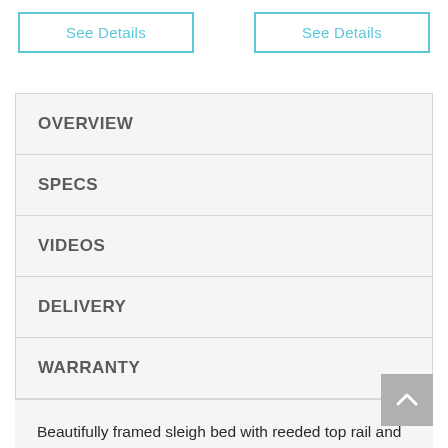See Details
See Details
OVERVIEW
SPECS
VIDEOS
DELIVERY
WARRANTY
Beautifully framed sleigh bed with reeded top rail and low profile footboard will be the focal point of